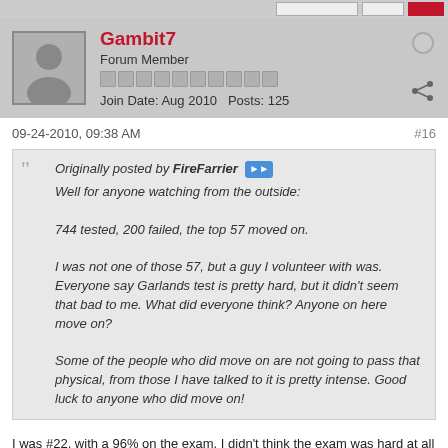Gambit7 | Forum Member | Join Date: Aug 2010 | Posts: 125
09-24-2010, 09:38 AM   #16
Originally posted by FireFarrier
Well for anyone watching from the outside:
744 tested, 200 failed, the top 57 moved on.
I was not one of those 57, but a guy I volunteer with was. Everyone say Garlands test is pretty hard, but it didn't seem that bad to me. What did everyone think? Anyone on here move on?
Some of the people who did move on are not going to pass that physical, from those I have talked to it is pretty intense. Good luck to anyone who did move on!
I was #22, with a 96% on the exam. I didn't think the exam was hard at all - there were a few questions that I had to read really carefully, but I felt like if you payed attention close attention you would do pretty well. By the way, to study I used a this book and then an old SAT 2 study book from 2005 that I picked up at Half Price for $2. The SAT study book actually was more useful